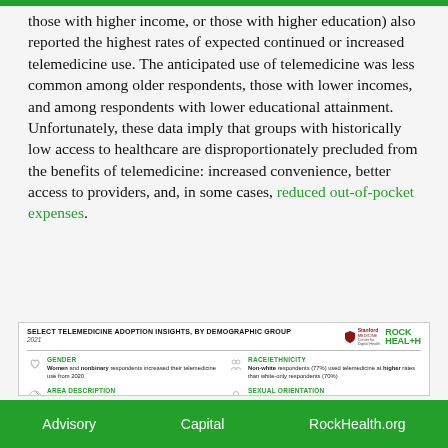those with higher income, or those with higher education) also reported the highest rates of expected continued or increased telemedicine use. The anticipated use of telemedicine was less common among older respondents, those with lower incomes, and among respondents with lower educational attainment. Unfortunately, these data imply that groups with historically low access to healthcare are disproportionately precluded from the benefits of telemedicine: increased convenience, better access to providers, and, in some cases, reduced out-of-pocket expenses.
[Figure (infographic): Select Telemedicine Adoption Insights, by Demographic Group 2021. Infographic with Stanford Medicine / Center for Digital Health and Rock Health logos. Sections: GENDER - Women and nonbinary respondents increased their telemedicine use from 2020. RACE/ETHNICITY - Non-white respondents (77%) used telemedicine at higher rates than white-only respondents (70%). AREA DESCRIPTION - More urban respondents (80%) used telemedicine in 2021, compared to 72% of suburban and 60% of rural respondents. SEXUAL ORIENTATION - LGBQA+ respondents (81%) used telemedicine more than respondents who identify as straight (77%). CHRONIC CONDITION STATUS - Conditions with the greatest telemedicine use: (truncated). TRANSGENDER IDENTITY - 96% of trans respondents used telemedicine in (truncated).]
Advisory   Capital   RockHealth.org